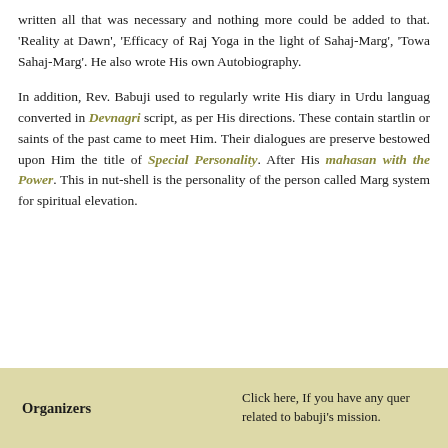written all that was necessary and nothing more could be added to that. 'Reality at Dawn', 'Efficacy of Raj Yoga in the light of Sahaj-Marg', 'Towa Sahaj-Marg'. He also wrote His own Autobiography.
In addition, Rev. Babuji used to regularly write His diary in Urdu language, converted in Devnagri script, as per His directions. These contain startling accounts or saints of the past came to meet Him. Their dialogues are preserved. bestowed upon Him the title of Special Personality. After His mahasam with the Power. This in nut-shell is the personality of the person called Marg system for spiritual elevation.
Organizers   Click here, If you have any queries related to babuji's mission.